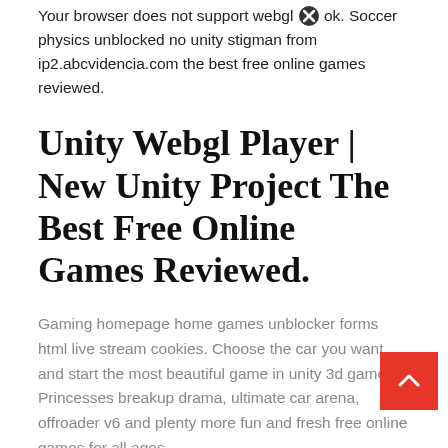Your browser does not support webgl ok. Soccer physics unblocked no unity stigman from ip2.abcvidencia.com the best free online games reviewed.
Unity Webgl Player | New Unity Project The Best Free Online Games Reviewed.
Gaming homepage home games unblocker forms html live stream cookies. Choose the car you want and start the most beautiful game in unity 3d games. Princesses breakup drama, ultimate car arena, offroader v6 and plenty more fun and fresh free online games for all ages.
Unity Webgl Player | New